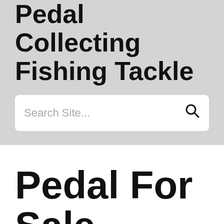Pedal Collecting Fishing Tackle
[Figure (other): Search bar with placeholder text 'Search Site...' and a search icon on the right]
Pedal For Sale